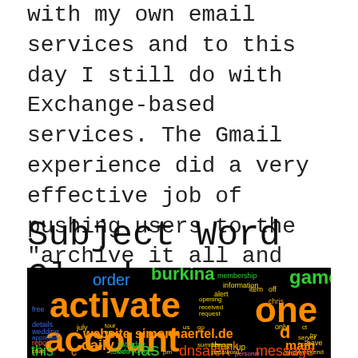with my own email services and to this day I still do with Exchange-based services. The Gmail experience did a very effective job of pushing users to the "archive it all and search as needed" philosophy thanks to Google's powerful search algorithms.
Subject Word Cloud
[Figure (infographic): Word cloud image on black background featuring email-related words. Dominant large orange words: 'activate', 'account', 'vate'. Medium orange words: 'website', 'simonhaertel.de', 'daily', 'thank'. Other colored words in green, blue, red, yellow: 'order', 'information', 'burkina', 'game', 'membership', 'dnsalert', 'message', 'this', 'has', 'domain', 'report', 'chris', 'opening', 'received', 'request', 'july', 'wedding', 'application', 'saturday', 'community', 'password', 'summer', 'change', 'toledo', 'server', 'host', 'weekend', 'more', 'one', 'alert', 'item', 'off', 'details', 'free', 'tour', 'up', 'go', 'by', 'have', 'chat', 'pm', 'personal', 'other']